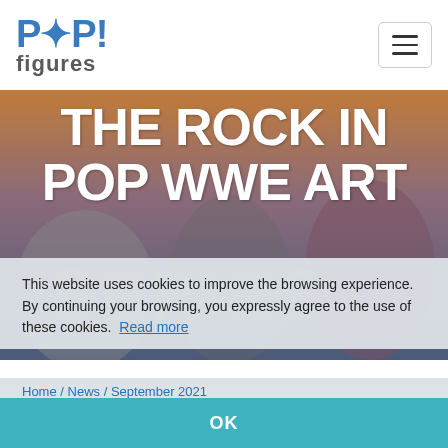[Figure (logo): POP! figures logo with blue text]
[Figure (photo): Hero background image of Funko POP WWE figures with large white bold text reading THE ROCK IN POP WWE ART SERIES]
This website uses cookies to improve the browsing experience. By continuing your browsing, you expressly agree to the use of these cookies.  Read more
Home / News / September 2021 / The Rock in POP WWE Art Series
OK